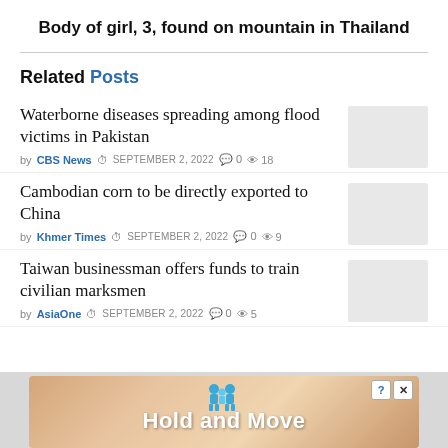Body of girl, 3, found on mountain in Thailand
Related Posts
Waterborne diseases spreading among flood victims in Pakistan
by CBS News  SEPTEMBER 2, 2022  0  18
Cambodian corn to be directly exported to China
by Khmer Times  SEPTEMBER 2, 2022  0  9
Taiwan businessman offers funds to train civilian marksmen
by AsiaOne  SEPTEMBER 2, 2022  0  5
[Figure (screenshot): Advertisement banner for 'Hold and Move' app/game with two blue cartoon figures and striped background]